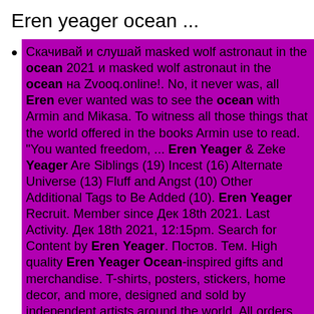Eren yeager ocean ...
Скачивай и слушай masked wolf astronaut in the ocean 2021 и masked wolf astronaut in the ocean на Zvooq.online!. No, it never was, all Eren ever wanted was to see the ocean with Armin and Mikasa. To witness all those things that the world offered in the books Armin use to read. "You wanted freedom, ... Eren Yeager & Zeke Yeager Are Siblings (19) Incest (16) Alternate Universe (13) Fluff and Angst (10) Other Additional Tags to Be Added (10). Eren Yeager Recruit. Member since Дек 18th 2021. Last Activity. Дек 18th 2021, 12:15pm. Search for Content by Eren Yeager. Постов. Тем. High quality Eren Yeager Ocean-inspired gifts and merchandise. T-shirts, posters, stickers, home decor, and more, designed and sold by independent artists around the world. All orders are custom made and most ship worldwide within 24 hours. Eren Yeager (Japanese: エレン・イェーガー, Hepburn: Eren Yēgā) is a fictional character and the protagonist of the Attack on Titan manga series created by Hajime Isayama. Enjoy play game hop Tiles of Eren Yeager of titan songs music start right now you can play Eren Yeager AOT Hop Tiles free. For the series' first several arcs, protagonist Eren Yeager was driven